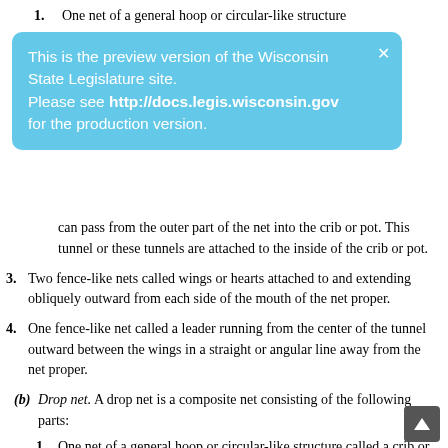1. One net of a general hoop or circular-like structure
[Figure (screenshot): Blue preview banner: 'This is the preview version of the Wisconsin State Legislature site. Please see http://docs.legis.wisconsin.gov for the production version.']
can pass from the outer part of the net into the crib or pot. This tunnel or these tunnels are attached to the inside of the crib or pot.
3. Two fence-like nets called wings or hearts attached to and extending obliquely outward from each side of the mouth of the net proper.
4. One fence-like net called a leader running from the center of the tunnel outward between the wings in a straight or angular line away from the net proper.
(b) Drop net. A drop net is a composite net consisting of the following parts:
1. One net of a general hoop or circular-like structure called a crib or pot with numbers of hoops holding, encasing or enclosing net webbing.
2. One or more small funnel-shaped nets commonly called tunnels with a large opening at one end and a small opening or throat at the other through which the fish can pass from the outer part of the net into the crib or pot. This tunnel or these tunnels are attached to the inside of